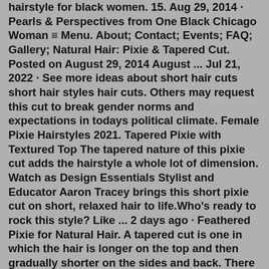hairstyle for black women. 15. Aug 29, 2014 · Pearls & Perspectives from One Black Chicago Woman ≡ Menu. About; Contact; Events; FAQ; Gallery; Natural Hair: Pixie & Tapered Cut. Posted on August 29, 2014 August ... Jul 21, 2022 · See more ideas about short hair cuts short hair styles hair cuts. Others may request this cut to break gender norms and expectations in todays political climate. Female Pixie Hairstyles 2021. Tapered Pixie with Textured Top The tapered nature of this pixie cut adds the hairstyle a whole lot of dimension. Watch as Design Essentials Stylist and Educator Aaron Tracey brings this short pixie cut on short, relaxed hair to life.Who's ready to rock this style? Like ... 2 days ago · Feathered Pixie for Natural Hair. A tapered cut is one in which the hair is longer on the top and then gradually shorter on the sides and back. There are numerous ways to look stunning with short and natural hair. Some naturalistas just have all the fun. Short Natural Pixie Wig Wigs Ombre Short Hair Cut Wig Daily Fashion Elegant Black Buy ... May 15, 2022 · This guide...